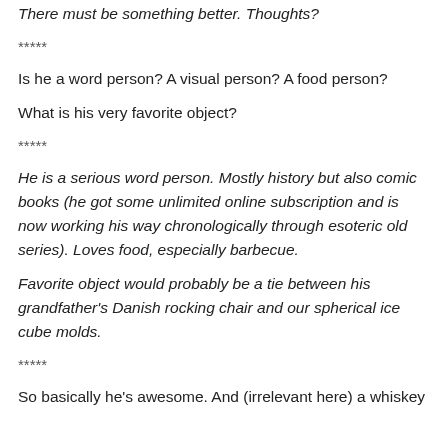There must be something better. Thoughts?
*****
Is he a word person? A visual person? A food person?
What is his very favorite object?
*****
He is a serious word person. Mostly history but also comic books (he got some unlimited online subscription and is now working his way chronologically through esoteric old series). Loves food, especially barbecue.
Favorite object would probably be a tie between his grandfather's Danish rocking chair and our spherical ice cube molds.
*****
So basically he's awesome. And (irrelevant here) a whiskey